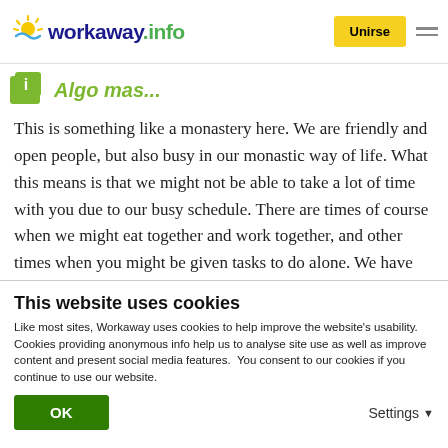workaway.info — Unirse
Algo mas...
This is something like a monastery here. We are friendly and open people, but also busy in our monastic way of life. What this means is that we might not be able to take a lot of time with you due to our busy schedule. There are times of course when we might eat together and work together, and other times when you might be given tasks to do alone. We have many various temple programs in the morning and evening with singing kirtan, meditation, and
This website uses cookies
Like most sites, Workaway uses cookies to help improve the website's usability. Cookies providing anonymous info help us to analyse site use as well as improve content and present social media features.  You consent to our cookies if you continue to use our website.
OK
Settings